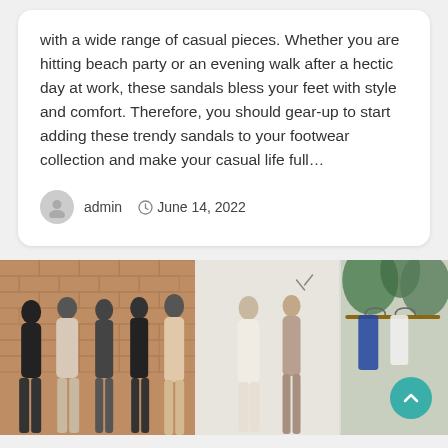with a wide range of casual pieces. Whether you are hitting beach party or an evening walk after a hectic day at work, these sandals bless your feet with style and comfort. Therefore, you should gear-up to start adding these trendy sandals to your footwear collection and make your casual life full…
admin   June 14, 2022
[Figure (photo): A wide photo strip showing three panels: left panel with a group of Asian women in casual/stylish outfits against a brick wall background; middle panel with women in white outfits on a light background; right panel showing clothing on hangers with green plants.]